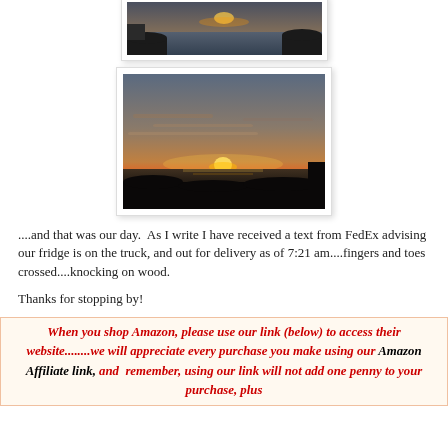[Figure (photo): Coastal/seaside photo showing rocks and ocean at dusk or dawn, partial view at top of page]
[Figure (photo): Sunset over the ocean with silhouetted rocky coastline, warm orange and yellow sky near horizon, darker sky above]
....and that was our day.  As I write I have received a text from FedEx advising our fridge is on the truck, and out for delivery as of 7:21 am....fingers and toes crossed....knocking on wood.
Thanks for stopping by!
When you shop Amazon, please use our link (below) to access their website........we will appreciate every purchase you make using our Amazon Affiliate link, and  remember, using our link will not add one penny to your purchase, plus